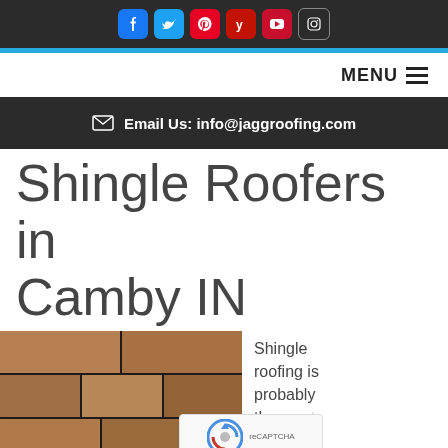Social media icons: Facebook, Twitter, Pinterest, Yelp, YouTube, Instagram
MENU
✉ Email Us: info@jaggroofing.com
Shingle Roofers in Camby IN
[Figure (photo): Close-up photograph of brown/tan asphalt shingles on a roof]
Shingle roofing is probably the most comm... roofing